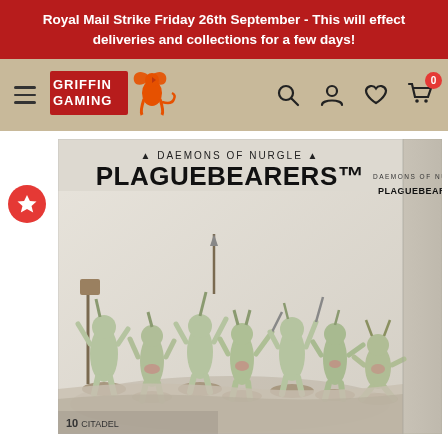Royal Mail Strike Friday 26th September - This will effect deliveries and collections for a few days!
[Figure (logo): Griffin Gaming logo with stylized griffin and text]
[Figure (photo): Daemons of Nurgle Plaguebearers box set showing 10 Citadel miniatures of Nurgle Plaguebearer daemons on round bases with weapons and plague-themed details]